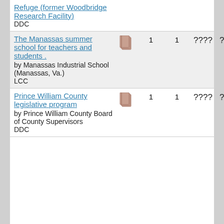Refuge (former Woodbridge Research Facility)
DDC
| Title/Author/Class | Type | Col1 | Col2 | Col3 | Col4 |
| --- | --- | --- | --- | --- | --- |
| The Manassas summer school for teachers and students . by Manassas Industrial School (Manassas, Va.) LCC | book | 1 | 1 | ???? | ???? |
| Prince William County legislative program by Prince William County Board of County Supervisors DDC | book | 1 | 1 | ???? | ???? |